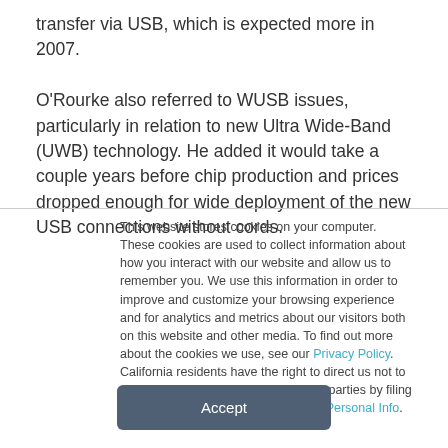transfer via USB, which is expected more in 2007.

O'Rourke also referred to WUSB issues, particularly in relation to new Ultra Wide-Band (UWB) technology. He added it would take a couple years before chip production and prices dropped enough for wide deployment of the new USB connections without cords.
This website stores cookies on your computer. These cookies are used to collect information about how you interact with our website and allow us to remember you. We use this information in order to improve and customize your browsing experience and for analytics and metrics about our visitors both on this website and other media. To find out more about the cookies we use, see our Privacy Policy. California residents have the right to direct us not to sell their personal information to third parties by filing an Opt-Out Request: Do Not Sell My Personal Info.
Accept